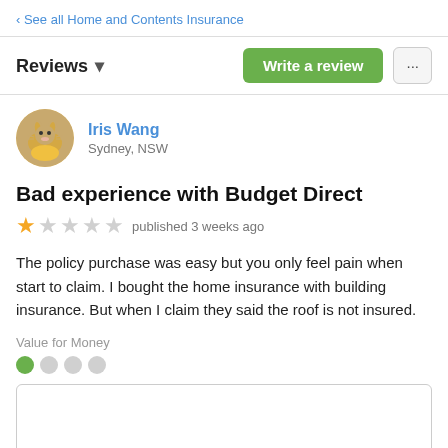‹ See all Home and Contents Insurance
Reviews ▾
Iris Wang
Sydney, NSW
Bad experience with Budget Direct
★☆☆☆☆ published 3 weeks ago
The policy purchase was easy but you only feel pain when start to claim. I bought the home insurance with building insurance. But when I claim they said the roof is not insured.
Value for Money
See all answers ▸